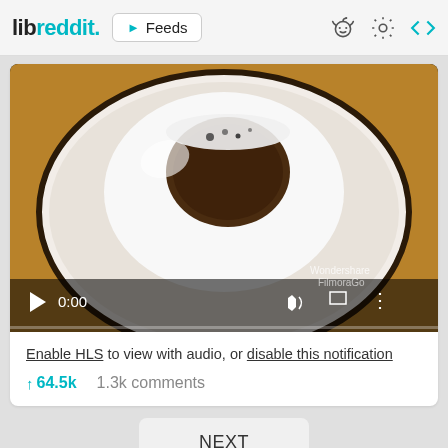libreddit. ▶ Feeds
[Figure (screenshot): A video player showing a top-down view of a white bowl or cup with dark contents (appears to be a drink like coffee or chia pudding), with playback controls at the bottom showing 0:00 timestamp and a Wondershare Filmora watermark.]
Enable HLS to view with audio, or disable this notification
↑64.5k   1.3k comments
NEXT